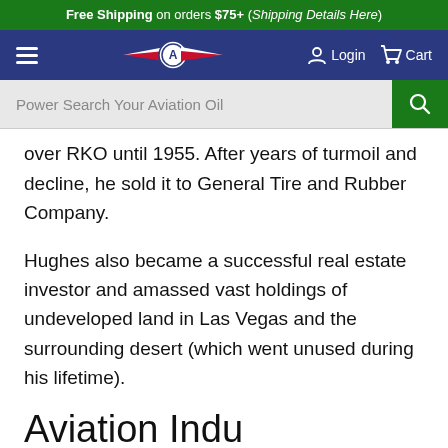Free Shipping on orders $75+ (Shipping Details Here)
Navigation bar with hamburger menu, Aviation Oil logo, Login, Cart
Power Search Your Aviation Oil
over RKO until 1955. After years of turmoil and decline, he sold it to General Tire and Rubber Company.
Hughes also became a successful real estate investor and amassed vast holdings of undeveloped land in Las Vegas and the surrounding desert (which went unused during his lifetime).
Aviation Indus
He then also became a corresponding to the text